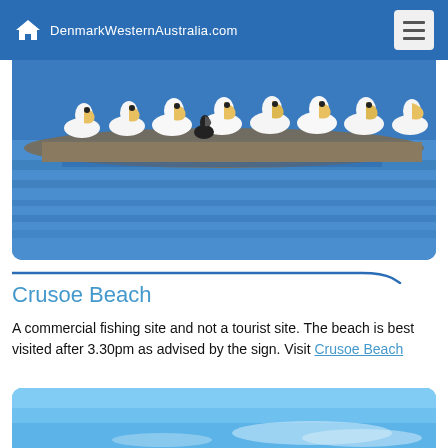DenmarkWesternAustralia.com
[Figure (photo): Pelicans standing on rocks at the water's edge, with blue water in the background]
Crusoe Beach
A commercial fishing site and not a tourist site. The beach is best visited after 3.30pm as advised by the sign. Visit Crusoe Beach
[Figure (photo): Blue sky with light clouds, partial beach scene]